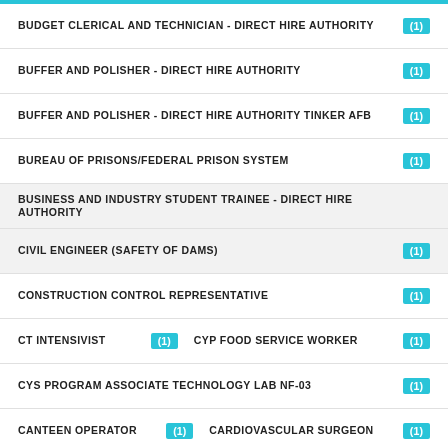BUDGET CLERICAL AND TECHNICIAN - DIRECT HIRE AUTHORITY (1)
BUFFER AND POLISHER - DIRECT HIRE AUTHORITY (1)
BUFFER AND POLISHER - DIRECT HIRE AUTHORITY TINKER AFB (1)
BUREAU OF PRISONS/FEDERAL PRISON SYSTEM (1)
BUSINESS AND INDUSTRY STUDENT TRAINEE - DIRECT HIRE AUTHORITY
CIVIL ENGINEER (SAFETY OF DAMS) (1)
CONSTRUCTION CONTROL REPRESENTATIVE (1)
CT INTENSIVIST (1)   CYP FOOD SERVICE WORKER (1)
CYS PROGRAM ASSOCIATE TECHNOLOGY LAB NF-03 (1)
CANTEEN OPERATOR (1)   CARDIOVASCULAR SURGEON (1)
CAREERS AT SSA SAN FRANCISCO REGION - OPPORTUNITIES FOR VETERANS
CARPENTER - DIRECT HIRE AUTHORITY (1)
CARPENTRY DIRECT HIRE AUTHORITY (1)